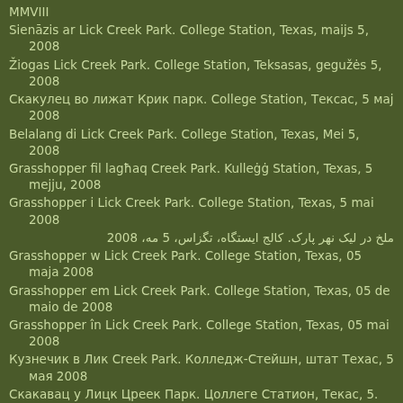MMVIII
Sienāzis ar Lick Creek Park. College Station, Texas, maijs 5, 2008
Žiogas Lick Creek Park. College Station, Teksasas, gegužės 5, 2008
Скакулец во лижат Крик парк. College Station, Тексас, 5 мај 2008
Belalang di Lick Creek Park. College Station, Texas, Mei 5, 2008
Grasshopper fil lagħaq Creek Park. Kulleġġ Station, Texas, 5 mejju, 2008
Grasshopper i Lick Creek Park. College Station, Texas, 5 mai 2008
ملخ در لیک نهر پارک. کالج ایستگاه، تگزاس، 5 مه، 2008
Grasshopper w Lick Creek Park. College Station, Texas, 05 maja 2008
Grasshopper em Lick Creek Park. College Station, Texas, 05 de maio de 2008
Grasshopper în Lick Creek Park. College Station, Texas, 05 mai 2008
Кузнечик в Лик Creek Park. Колледж-Стейшн, штат Техас, 5 мая 2008
Скакавац у Лицк Цреек Парк. Цоллеге Статион, Текас, 5. мај 2008
Kobylka v Lick Creek Park. College Station, Texas, 05.5.2008